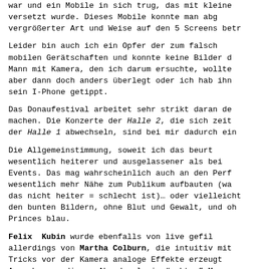war und ein Mobile in sich trug, das mit kleine versetzt wurde. Dieses Mobile konnte man abg vergrößerter Art und Weise auf den 5 Screens betr
Leider bin auch ich ein Opfer der zum falsch mobilen Gerätschaften und konnte keine Bilder d Mann mit Kamera, den ich darum ersuchte, wollte aber dann doch anders überlegt oder ich hab ihn sein I-Phone getippt.
Das Donaufestival arbeitet sehr strikt daran de machen. Die Konzerte der Halle 2, die sich zeit der Halle 1 abwechseln, sind bei mir dadurch ein
Die Allgemeinstimmung, soweit ich das beurt wesentlich heiterer und ausgelassener als bei Events. Das mag wahrscheinlich auch an den Perf wesentlich mehr Nähe zum Publikum aufbauten (wa das nicht heiter = schlecht ist)… oder vielleicht den bunten Bildern, ohne Blut und Gewalt, und oh Princes blau.
Felix Kubin wurde ebenfalls von live gefil allerdings von Martha Colburn, die intuitiv mit Tricks vor der Kamera analoge Effekte erzeugt Ausnahme an diesem Abend mal ein "echtes" Mus Gitarr… allerdings